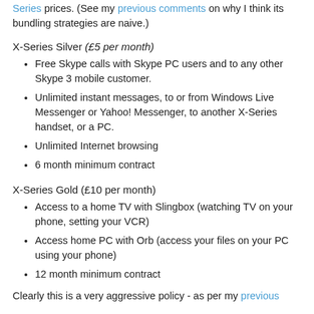Series prices. (See my previous comments on why I think its bundling strategies are naive.)
X-Series Silver (£5 per month)
Free Skype calls with Skype PC users and to any other Skype 3 mobile customer.
Unlimited instant messages, to or from Windows Live Messenger or Yahoo! Messenger, to another X-Series handset, or a PC.
Unlimited Internet browsing
6 month minimum contract
X-Series Gold (£10 per month)
Access to a home TV with Slingbox (watching TV on your phone, setting your VCR)
Access home PC with Orb (access your files on your PC using your phone)
12 month minimum contract
Clearly this is a very aggressive policy - as per my previous